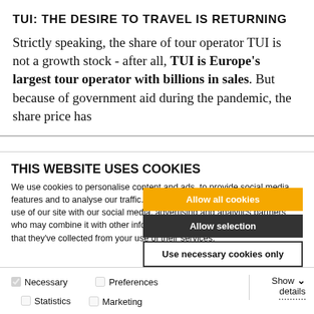TUI: THE DESIRE TO TRAVEL IS RETURNING
Strictly speaking, the share of tour operator TUI is not a growth stock - after all, TUI is Europe's largest tour operator with billions in sales. But because of government aid during the pandemic, the share price has
THIS WEBSITE USES COOKIES
We use cookies to personalise content and ads, to provide social media features and to analyse our traffic. We also share information about your use of our site with our social media, advertising and analytics partners who may combine it with other information that you've provided to them or that they've collected from your use of their services.
Allow all cookies
Allow selection
Use necessary cookies only
Necessary  Preferences  Statistics  Marketing  Show details